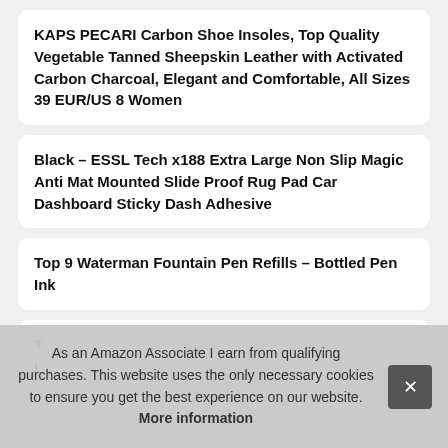KAPS PECARI Carbon Shoe Insoles, Top Quality Vegetable Tanned Sheepskin Leather with Activated Carbon Charcoal, Elegant and Comfortable, All Sizes 39 EUR/US 8 Women
Black – ESSL Tech x188 Extra Large Non Slip Magic Anti Mat Mounted Slide Proof Rug Pad Car Dashboard Sticky Dash Adhesive
Top 9 Waterman Fountain Pen Refills – Bottled Pen Ink
T... (partial, cut off)
As an Amazon Associate I earn from qualifying purchases. This website uses the only necessary cookies to ensure you get the best experience on our website. More information